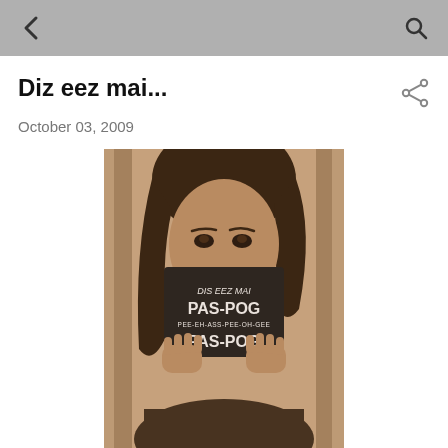← [back arrow]   [search icon]
Diz eez mai...
October 03, 2009
[Figure (photo): Sepia-toned photo of a person with dark hair holding up a dark booklet/card in front of their lower face. The card reads: 'DIS EEZ MAI PAS-POG PEE-EH-ASS-PEE-OH-GEE PAS-POG']